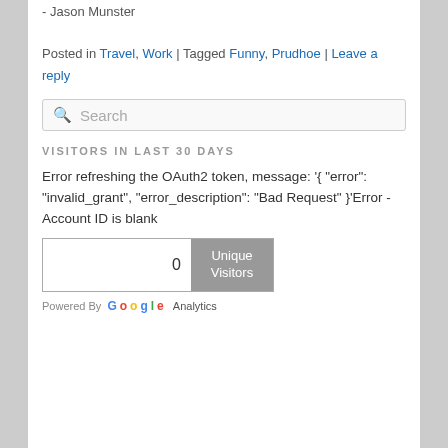- Jason Munster
Posted in Travel, Work | Tagged Funny, Prudhoe | Leave a reply
Search
VISITORS IN LAST 30 DAYS
Error refreshing the OAuth2 token, message: '{ "error": "invalid_grant", "error_description": "Bad Request" }'Error - Account ID is blank
[Figure (other): Counter widget showing 0 Unique Visitors]
Powered By Google Analytics